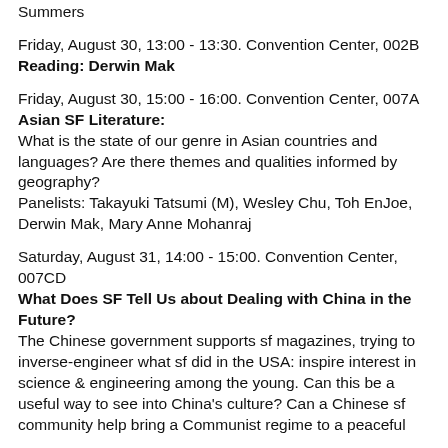Summers
Friday, August 30, 13:00 - 13:30. Convention Center, 002B
Reading: Derwin Mak
Friday, August 30, 15:00 - 16:00. Convention Center, 007A
Asian SF Literature:
What is the state of our genre in Asian countries and languages? Are there themes and qualities informed by geography?
Panelists: Takayuki Tatsumi (M), Wesley Chu, Toh EnJoe, Derwin Mak, Mary Anne Mohanraj
Saturday, August 31, 14:00 - 15:00. Convention Center, 007CD
What Does SF Tell Us about Dealing with China in the Future?
The Chinese government supports sf magazines, trying to inverse-engineer what sf did in the USA: inspire interest in science & engineering among the young. Can this be a useful way to see into China's culture? Can a Chinese sf community help bring a Communist regime to a peaceful coexistence, and then What?